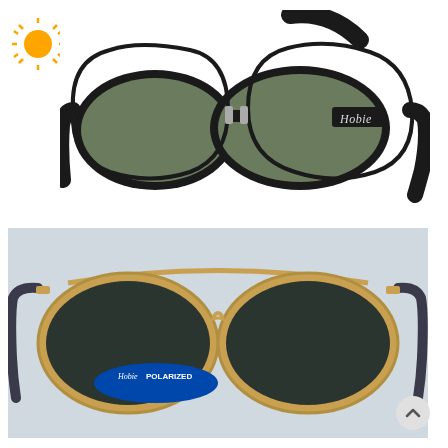[Figure (logo): Daylight Transport logo with sun graphic, blue and red text]
[Figure (photo): Black wraparound Hobie polarized sunglasses on white background, side view showing both lenses and Hobie script logo on temple]
[Figure (photo): Hobie aviator-style sunglasses with gold metal frame and dark lenses, shown at an angle. A blue oval tag reads Hobie POLARIZED. Light gray background.]